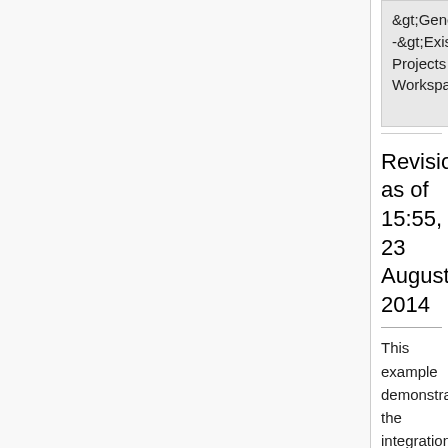| &gt;General--&gt;Existing Projects into Workspace. | -&gt;Existing Projects into Workspace. |
Revision as of 15:55, 23 August 2014
This example demonstrates the integration of BPJ scenarios with LSCs. An explanation of the original example and the behavioral threads can be found here. To this example we have added a set of LSCs to control the color supply. The auto generated system model GUI is used to simulate a color that ran out and was manually refilled. For each color used for the wall painting (black, red, blue, green) we have added two LSCs.
One LSC monitors the use of a color, and after being used twice (simulating that each color can is sufficient for painting two segments), it announces that the color has run out: